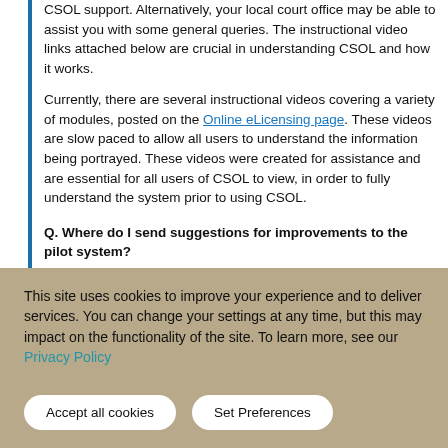CSOL support. Alternatively, your local court office may be able to assist you with some general queries. The instructional video links attached below are crucial in understanding CSOL and how it works.
Currently, there are several instructional videos covering a variety of modules, posted on the Online eLicensing page. These videos are slow paced to allow all users to understand the information being portrayed. These videos were created for assistance and are essential for all users of CSOL to view, in order to fully understand the system prior to using CSOL.
Q. Where do I send suggestions for improvements to the pilot system?
This site uses cookies to improve your experience and to deliver services. You can change your settings at any time, but this may impact on the functionality of the site. To learn more, see our Privacy Policy